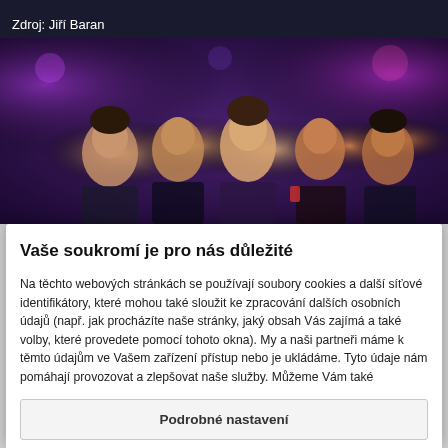Zdroj: Jiří Baran
[Figure (photo): A group of smiling young people at a nightclub or outdoor evening event, with colorful purple and red lights in the background.]
Vaše soukromí je pro nás důležité
Na těchto webových stránkách se používají soubory cookies a další síťové identifikátory, které mohou také sloužit ke zpracování dalších osobních údajů (např. jak procházíte naše stránky, jaký obsah Vás zajímá a také volby, které provedete pomocí tohoto okna). My a naši partneři máme k těmto údajům ve Vašem zařízení přístup nebo je ukládáme. Tyto údaje nám pomáhají provozovat a zlepšovat naše služby. Můžeme Vám také
Podrobné nastavení
Rozumím a přijímám